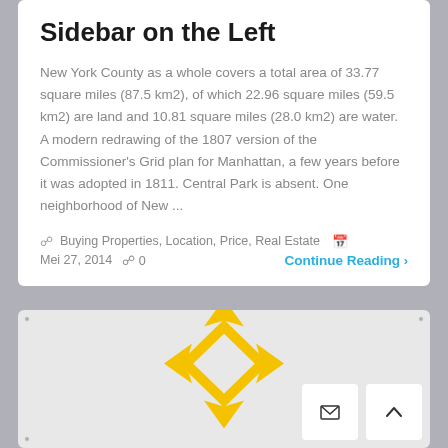Sidebar on the Left
New York County as a whole covers a total area of 33.77 square miles (87.5 km2), of which 22.96 square miles (59.5 km2) are land and 10.81 square miles (28.0 km2) are water. A modern redrawing of the 1807 version of the Commissioner's Grid plan for Manhattan, a few years before it was adopted in 1811. Central Park is absent. One neighborhood of New ...
Buying Properties, Location, Price, Real Estate   Mei 27, 2014   0   Continue Reading >
[Figure (logo): Yellow diamond-shaped compass/cross logo icon centered on light gray background with two white button boxes in the bottom right (envelope icon and up-arrow icon)]